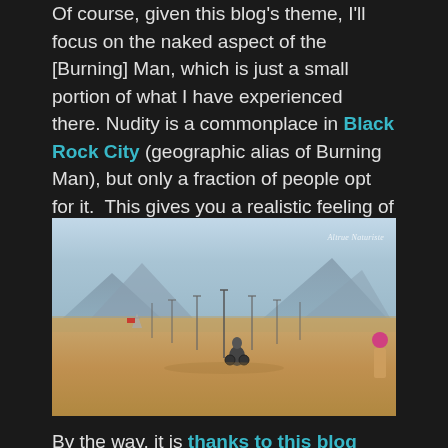Of course, given this blog's theme, I'll focus on the naked aspect of the [Burning] Man, which is just a small portion of what I have experienced there. Nudity is a commonplace in Black Rock City (geographic alias of Burning Man), but only a fraction of people opt for it. This gives you a realistic feeling of what it could be like if full nudity in public was legalised in Western society and some people would start make use of this freedom.
[Figure (photo): Wide landscape photo of Black Rock City/Burning Man playa. Shows flat desert expanse with mountains in background, lamp posts lining a central road or path, people on bicycles and walking, and a pink-haired person visible on right edge. Watermark reads 'Altrue Naturiste' in italic font.]
By the way, it is thanks to this blog that I found a wonderful companion, Andre, to join me at the